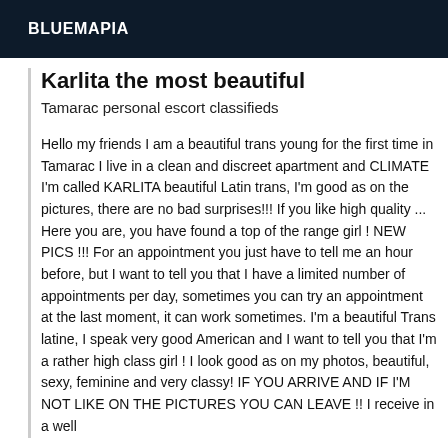BLUEMAPIA
Karlita the most beautiful
Tamarac personal escort classifieds
Hello my friends I am a beautiful trans young for the first time in Tamarac I live in a clean and discreet apartment and CLIMATE I'm called KARLITA beautiful Latin trans, I'm good as on the pictures, there are no bad surprises!!! If you like high quality ... Here you are, you have found a top of the range girl ! NEW PICS !!! For an appointment you just have to tell me an hour before, but I want to tell you that I have a limited number of appointments per day, sometimes you can try an appointment at the last moment, it can work sometimes. I'm a beautiful Trans latine, I speak very good American and I want to tell you that I'm a rather high class girl ! I look good as on my photos, beautiful, sexy, feminine and very classy! IF YOU ARRIVE AND IF I'M NOT LIKE ON THE PICTURES YOU CAN LEAVE !! I receive in a well